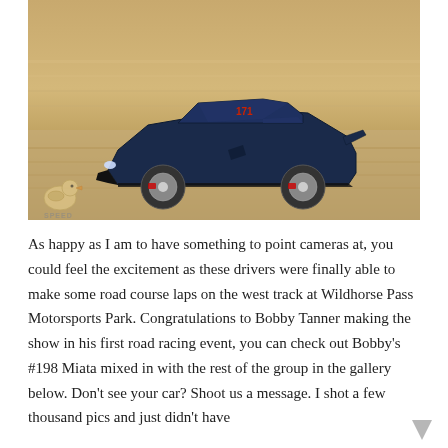[Figure (photo): A dark blue Corvette sports car with race number 171 in red on the windshield, photographed in motion on a racetrack with a motion-blurred background. A rubber duck speed logo watermark appears in the lower left corner of the image.]
As happy as I am to have something to point cameras at, you could feel the excitement as these drivers were finally able to make some road course laps on the west track at Wildhorse Pass Motorsports Park. Congratulations to Bobby Tanner making the show in his first road racing event, you can check out Bobby's #198 Miata mixed in with the rest of the group in the gallery below. Don't see your car? Shoot us a message. I shot a few thousand pics and just didn't have